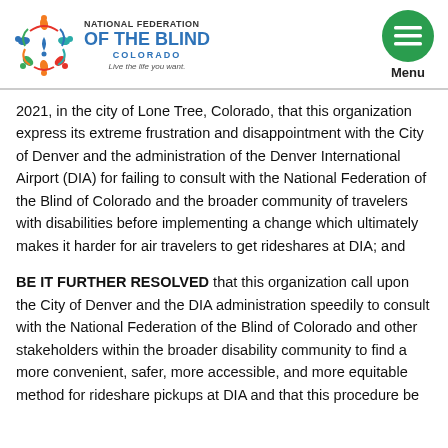[Figure (logo): National Federation of the Blind Colorado logo with colorful circular emblem and text reading NATIONAL FEDERATION OF THE BLIND COLORADO with tagline Live the life you want.]
2021, in the city of Lone Tree, Colorado, that this organization express its extreme frustration and disappointment with the City of Denver and the administration of the Denver International Airport (DIA) for failing to consult with the National Federation of the Blind of Colorado and the broader community of travelers with disabilities before implementing a change which ultimately makes it harder for air travelers to get rideshares at DIA; and
BE IT FURTHER RESOLVED that this organization call upon the City of Denver and the DIA administration speedily to consult with the National Federation of the Blind of Colorado and other stakeholders within the broader disability community to find a more convenient, safer, more accessible, and more equitable method for rideshare pickups at DIA and that this procedure be